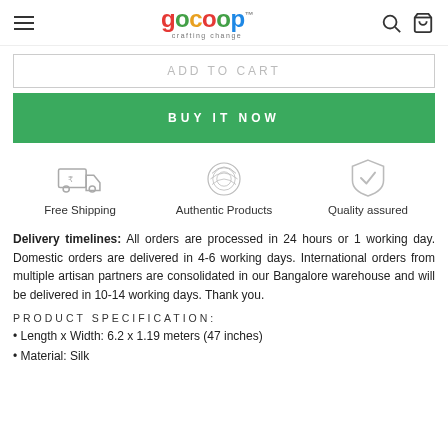gocoop - crafting change
[Figure (screenshot): Add to cart button (partially visible, greyed out text)]
[Figure (screenshot): Buy It Now green button]
[Figure (infographic): Three icons: Free Shipping (delivery truck with rupee), Authentic Products (fingerprint), Quality assured (shield with checkmark)]
Delivery timelines: All orders are processed in 24 hours or 1 working day. Domestic orders are delivered in 4-6 working days. International orders from multiple artisan partners are consolidated in our Bangalore warehouse and will be delivered in 10-14 working days. Thank you.
PRODUCT SPECIFICATION:
• Length x Width: 6.2 x 1.19 meters (47 inches)
• Material: Silk